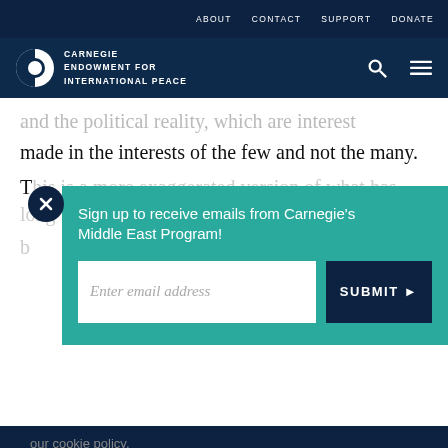ABOUT  CONTACT  SUPPORT  DONATE
[Figure (logo): Carnegie Endowment for International Peace logo with navigation icons (search and hamburger menu)]
made in the interests of the few and not the many.
This is a more exaggerated version of what has long b... d... a...
Sign up to receive emails from Carnegie's Middle East Program!
Enter email address
SUBMIT ▶
our cookie policy.
Social share icons: print, link, facebook, twitter, whatsapp, messenger, linkedin